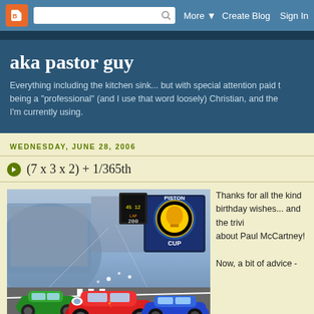Blogger navbar: logo, search, More, Create Blog, Sign In
aka pastor guy
Everything including the kitchen sink... but with special attention paid to being a "professional" (and I use that word loosely) Christian, and the I'm currently using.
WEDNESDAY, JUNE 28, 2006
(7 x 3 x 2) + 1/365th
[Figure (photo): Scene from Pixar's Cars movie showing animated race cars (Lightning McQueen in red, Chick Hicks in green, and The King in blue) racing at the Piston Cup stadium with a large crowd in background]
Thanks for all the kind birthday wishes... and the trivia about Paul McCartney!

Now, a bit of advice -